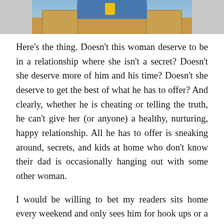[Figure (photo): Partial photo showing a person behind cardboard boxes with a yellow cup visible, cropped at top of page]
Here’s the thing. Doesn’t this woman deserve to be in a relationship where she isn’t a secret? Doesn’t she deserve more of him and his time? Doesn’t she deserve to get the best of what he has to offer? And clearly, whether he is cheating or telling the truth, he can’t give her (or anyone) a healthy, nurturing, happy relationship. All he has to offer is sneaking around, secrets, and kids at home who don’t know their dad is occasionally hanging out with some other woman.
I would be willing to bet my readers sits home every weekend and only sees him for hook ups or a quick drink or lunch or dinner. Then, he goes home to his “family” and she has to go home to no one (she doesn’t have kids) and feel sad and empty and lonely that she